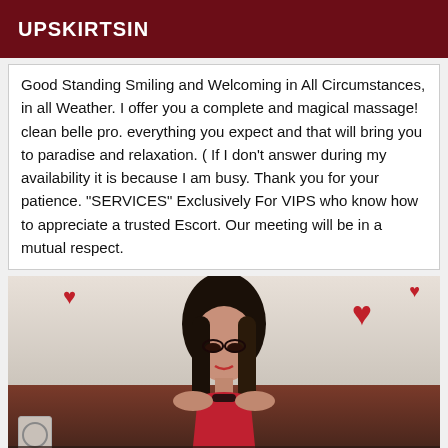UPSKIRTSIN
Good Standing Smiling and Welcoming in All Circumstances, in all Weather. I offer you a complete and magical massage! clean belle pro. everything you expect and that will bring you to paradise and relaxation. ( If I don't answer during my availability it is because I am busy. Thank you for your patience. "SERVICES" Exclusively For VIPS who know how to appreciate a trusted Escort. Our meeting will be in a mutual respect.
[Figure (photo): Photo of a young woman with dark hair in a room with red heart decorations on the wall]